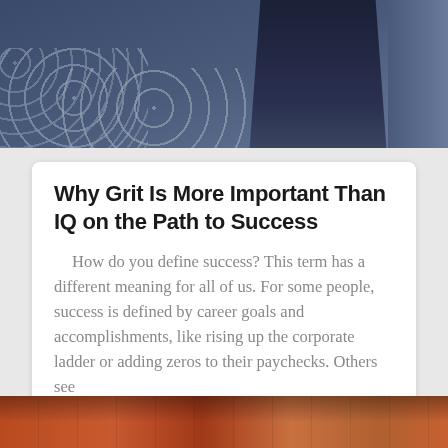[Figure (photo): A man in a dark navy suit seen from behind facing a crowd of people in an auditorium or conference setting]
Why Grit Is More Important Than IQ on the Path to Success
How do you define success? This term has a different meaning for all of us. For some people, success is defined by career goals and accomplishments, like rising up the corporate ladder or adding zeros to their paychecks. Others see
[Figure (photo): Bottom portion of a photo showing what appears to be a warm-toned indoor scene with wooden or orange-colored elements]